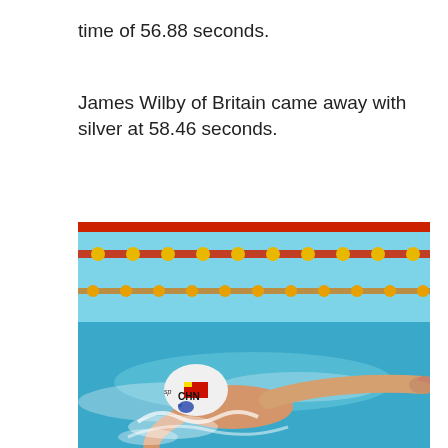time of 56.88 seconds.
James Wilby of Britain came away with silver at 58.46 seconds.
[Figure (photo): Ye Shiwen swimming butterfly stroke in a pool, wearing a white CHN cap, competing at the 2019 World Championships in Gwangju, South Korea.]
Ye Shiwen competes in the final of the women's 200m individual medley at the 2019 World Championships in Gwangju, South Korea, on July 22, 2019. /VCG Photo